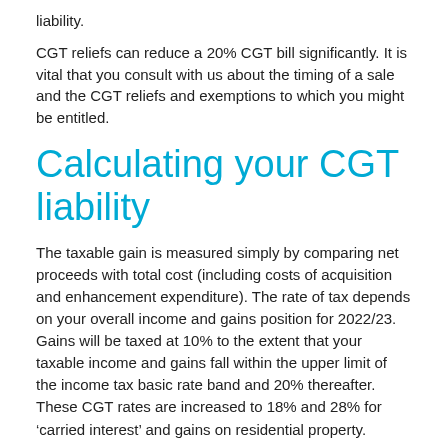liability.
CGT reliefs can reduce a 20% CGT bill significantly. It is vital that you consult with us about the timing of a sale and the CGT reliefs and exemptions to which you might be entitled.
Calculating your CGT liability
The taxable gain is measured simply by comparing net proceeds with total cost (including costs of acquisition and enhancement expenditure). The rate of tax depends on your overall income and gains position for 2022/23. Gains will be taxed at 10% to the extent that your taxable income and gains fall within the upper limit of the income tax basic rate band and 20% thereafter. These CGT rates are increased to 18% and 28% for ‘carried interest’ and gains on residential property.
A special tax relief, Business Asset Disposal Relief (BADR), is